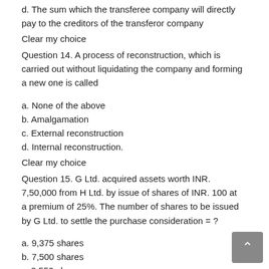d. The sum which the transferee company will directly pay to the creditors of the transferor company
Clear my choice
Question 14. A process of reconstruction, which is carried out without liquidating the company and forming a new one is called
a. None of the above
b. Amalgamation
c. External reconstruction
d. Internal reconstruction.
Clear my choice
Question 15. G Ltd. acquired assets worth INR. 7,50,000 from H Ltd. by issue of shares of INR. 100 at a premium of 25%. The number of shares to be issued by G Ltd. to settle the purchase consideration = ?
a. 9,375 shares
b. 7,500 shares
c. 8,550 shares